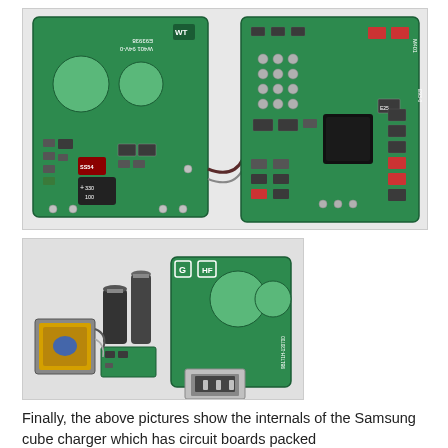[Figure (photo): Two green circuit boards from a Samsung cube charger shown side by side. Left board shows the back side with UL marking, E93938, W401 94V-0 text, a large cylindrical capacitor marked 330/100, a diode labeled SS54, and various SMD components. Right board shows the front side with multiple SMD components, a large black IC chip, capacitors, and resistors densely populated on the green PCB.]
[Figure (photo): Disassembled Samsung cube charger internals showing separated components: on the left, a transformer/inductor coil with yellow winding wire and two electrolytic capacitors standing upright; on the right, the green PCB with two large circular holes for plug prongs and a micro USB port connector attached at the bottom, with text 9B171H-130700 visible.]
Finally, the above pictures show the internals of the Samsung cube charger which has circuit boards packed